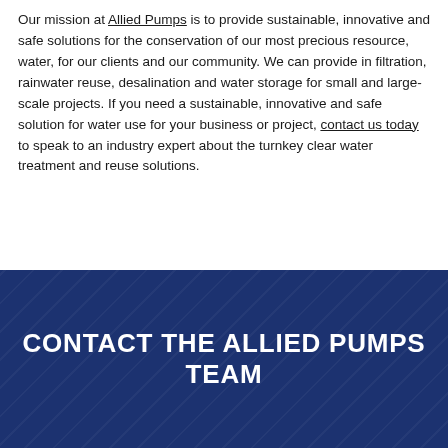Our mission at Allied Pumps is to provide sustainable, innovative and safe solutions for the conservation of our most precious resource, water, for our clients and our community. We can provide in filtration, rainwater reuse, desalination and water storage for small and large-scale projects. If you need a sustainable, innovative and safe solution for water use for your business or project, contact us today to speak to an industry expert about the turnkey clear water treatment and reuse solutions.
CONTACT THE ALLIED PUMPS TEAM